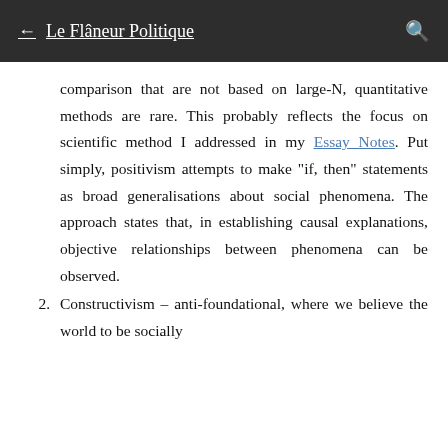← Le Flâneur Politique
comparison that are not based on large-N, quantitative methods are rare. This probably reflects the focus on scientific method I addressed in my Essay Notes. Put simply, positivism attempts to make "if, then" statements as broad generalisations about social phenomena. The approach states that, in establishing causal explanations, objective relationships between phenomena can be observed.
2. Constructivism – anti-foundational, where we believe the world to be socially